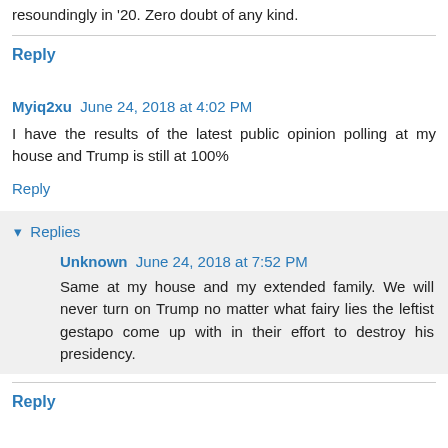resoundingly in '20. Zero doubt of any kind.
Reply
Myiq2xu  June 24, 2018 at 4:02 PM
I have the results of the latest public opinion polling at my house and Trump is still at 100%
Reply
Replies
Unknown  June 24, 2018 at 7:52 PM
Same at my house and my extended family. We will never turn on Trump no matter what fairy lies the leftist gestapo come up with in their effort to destroy his presidency.
Reply